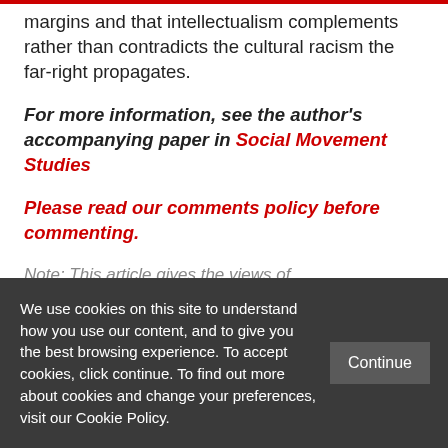margins and that intellectualism complements rather than contradicts the cultural racism the far-right propagates.
For more information, see the author's accompanying paper in Social Movement Studies
Please read our comments policy before commenting.
Note: This article gives the views of
We use cookies on this site to understand how you use our content, and to give you the best browsing experience. To accept cookies, click continue. To find out more about cookies and change your preferences, visit our Cookie Policy.